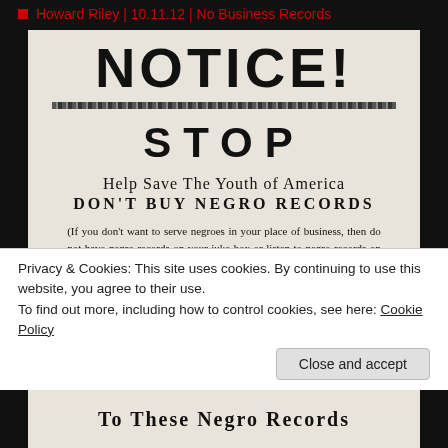Howard Riley | 10.11.12 | No Business Records
[Figure (photo): A historical racist notice document reading 'NOTICE! STOP Help Save The Youth of America DON'T BUY NEGRO RECORDS' with body text about not serving negroes in business and about screaming idiotic words and savage music of these records.]
Privacy & Cookies: This site uses cookies. By continuing to use this website, you agree to their use.
To find out more, including how to control cookies, see here: Cookie Policy
Close and accept
To These Negro Records